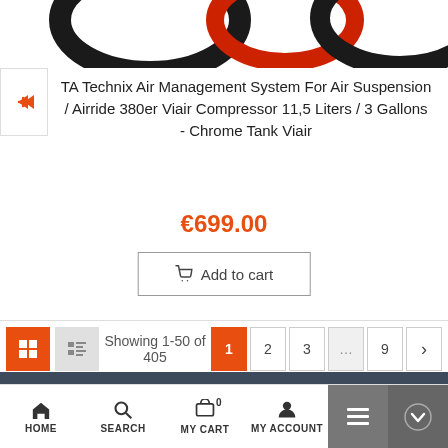[Figure (photo): Partial view of product image showing O-rings/rubber seals in black and red against white background]
TA Technix Air Management System For Air Suspension / Airride 380er Viair Compressor 11,5 Liters / 3 Gallons - Chrome Tank Viair
€699.00
Add to cart
Showing 1-50 of 405
HOME  SEARCH  MY CART 0  MY ACCOUNT